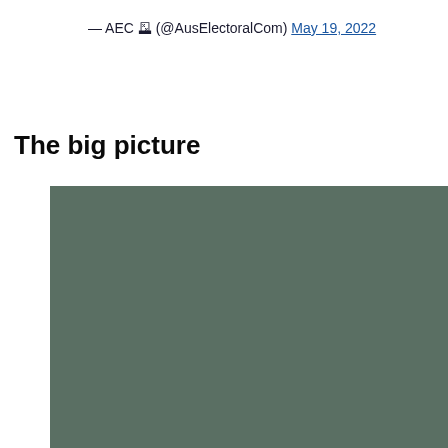— AEC 🗳 (@AusElectoralCom) May 19, 2022
The big picture
[Figure (photo): Large image placeholder with muted dark green/grey background color, content not visible]